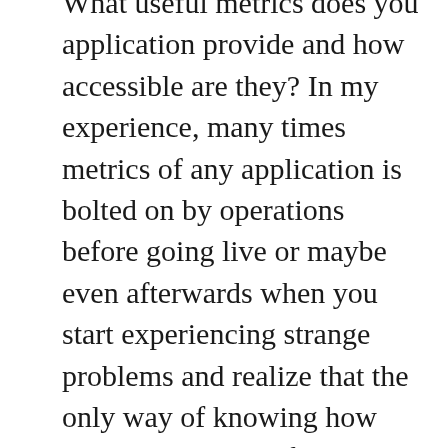What useful metrics does you application provide and how accessible are they? In my experience, many times metrics of any application is bolted on by operations before going live or maybe even afterwards when you start experiencing strange problems and realize that the only way of knowing how the application performs is looking at cpu usage and stuff like that. Even though cpu, io and memory usage can be very helpful for ops it is probably not very useful metrics when looking at how your application performs in business terms.You need to build in metrics to your application and it should be as natural and common as any other logging you put there.